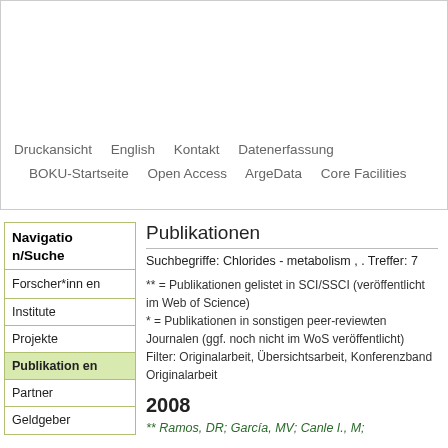[Figure (screenshot): Green decorative bar at top of page header]
Druckansicht   English   Kontakt   Datenerfassung   BOKU-Startseite   Open Access   ArgeData   Core Facilities
Navigation/Suche
Publikationen
Suchbegriffe: Chlorides - metabolism , . Treffer: 7
** = Publikationen gelistet in SCI/SSCI (veröffentlicht im Web of Science)
* = Publikationen in sonstigen peer-reviewten Journalen (ggf. noch nicht im WoS veröffentlicht)
Filter: Originalarbeit, Übersichtsarbeit, Konferenzband Originalarbeit
Forscher*innen
Institute
Projekte
Publikationen
Partner
Geldgeber
2008
** Ramos, DR; García, MV; Canle I., M;